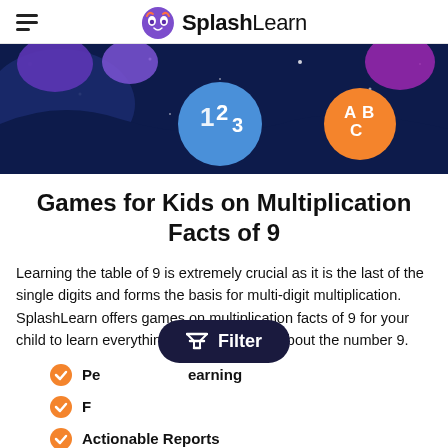SplashLearn
[Figure (illustration): Dark navy space-themed banner with colorful blob shapes, stars, a blue circle with '123' and an orange circle with 'ABC']
Games for Kids on Multiplication Facts of 9
Learning the table of 9 is extremely crucial as it is the last of the single digits and forms the basis for multi-digit multiplication. SplashLearn offers games on multiplication facts of 9 for your child to learn everything there is to know about the number 9.
Personalized Learning
Fun Rewards
Actionable Reports